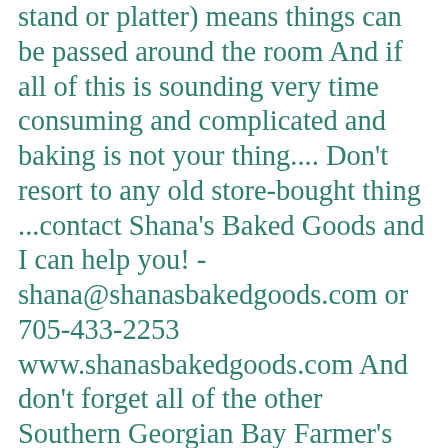stand or platter) means things can be passed around the room And if all of this is sounding very time consuming and complicated and baking is not your thing.... Don't resort to any old store-bought thing ...contact Shana's Baked Goods and I can help you! - shana@shanasbakedgoods.com or 705-433-2253 www.shanasbakedgoods.com And don't forget all of the other Southern Georgian Bay Farmer's Market vendors (check out our website www.sgbfarmersmarkets.com) who can help you with so many of your